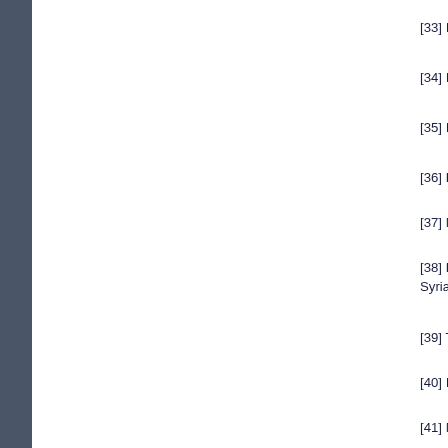[33] Ibid, p. 141.
[34] Ibid, p. 172.
[35] Ibid, pp. 137...
[36] FAOStat, ht...
[37] Ministry of ...
[38] Environment... Syria, June 1998...
[39] The World B...
[40] Ibid, Table A...
[41] Ministry of ...
[42] Andrew Ma... http://www.iht.co...
[43] "Bigger But...
[44] Daniel Keno... 69, http://muse.jh...